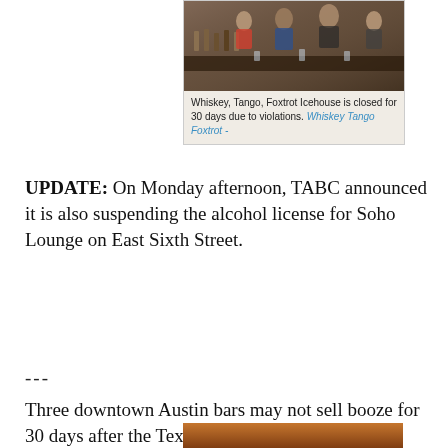[Figure (photo): Interior photo of a crowded bar with people seated, bar counter with bottles visible]
Whiskey, Tango, Foxtrot Icehouse is closed for 30 days due to violations. Whiskey Tango Foxtrot -
UPDATE: On Monday afternoon, TABC announced it is also suspending the alcohol license for Soho Lounge on East Sixth Street.
---
Three downtown Austin bars may not sell booze for 30 days after the Texas Alcoholic Beverage Commission found they were violating protocols put in place to slow the spread of COVID-19.
[Figure (photo): Partial bottom image of a bar, warm brown tones]